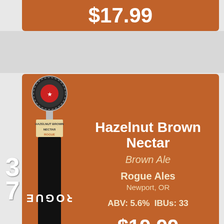$17.99
37
Hazelnut Brown Nectar
Brown Ale
Rogue Ales
Newport, OR
ABV: 5.6%  IBUs: 33
$19.99
38
Night Owl
Pumpkin
Elysian
Seattle, WA
ABV: 6.7%  IBUs: 18
$18.99